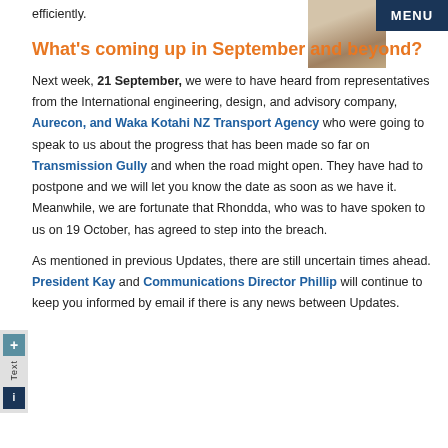efficiently.
[Figure (photo): Headshot photo of a person in a suit]
MENU
What's coming up in September and beyond?
Next week, 21 September, we were to have heard from representatives from the International engineering, design, and advisory company, Aurecon, and Waka Kotahi NZ Transport Agency who were going to speak to us about the progress that has been made so far on Transmission Gully and when the road might open. They have had to postpone and we will let you know the date as soon as we have it. Meanwhile, we are fortunate that Rhondda, who was to have spoken to us on 19 October, has agreed to step into the breach.
As mentioned in previous Updates, there are still uncertain times ahead. President Kay and Communications Director Phillip will continue to keep you informed by email if there is any news between Updates.